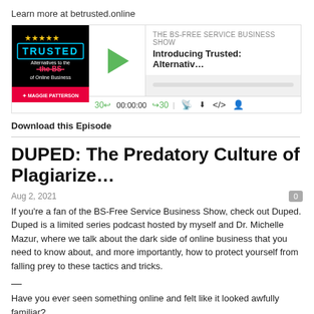Learn more at betrusted.online
[Figure (screenshot): Podcast player widget for 'THE BS-FREE SERVICE BUSINESS SHOW' episode 'Introducing Trusted: Alternativ...' with a play button, progress bar, time controls (30 back, 00:00:00, 30 forward), and icons for RSS, download, embed, and speed. Thumbnail shows 'TRUSTED Alternatives to the BS of Online Business' by Maggie Patterson on dark background.]
Download this Episode
DUPED: The Predatory Culture of Plagiarize…
Aug 2, 2021
0
If you're a fan of the BS-Free Service Business Show, check out Duped. Duped is a limited series podcast hosted by myself and Dr. Michelle Mazur, where we talk about the dark side of online business that you need to know about, and more importantly, how to protect yourself from falling prey to these tactics and tricks.
—
Have you ever seen something online and felt like it looked awfully familiar?
Then comes the sinking feeling that you've been copied. Without citation or credit.